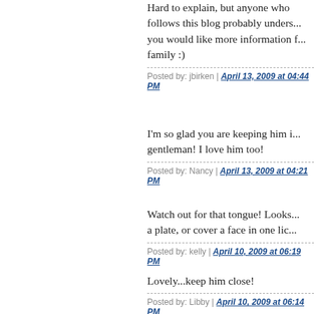Hard to explain, but anyone who follows this blog probably unders... you would like more information f... family :)
Posted by: jbirken | April 13, 2009 at 04:44 PM
I'm so glad you are keeping him i... gentleman! I love him too!
Posted by: Nancy | April 13, 2009 at 04:21 PM
Watch out for that tongue! Looks... a plate, or cover a face in one lic...
Posted by: kelly | April 10, 2009 at 06:19 PM
Lovely...keep him close!
Posted by: Libby | April 10, 2009 at 06:14 PM